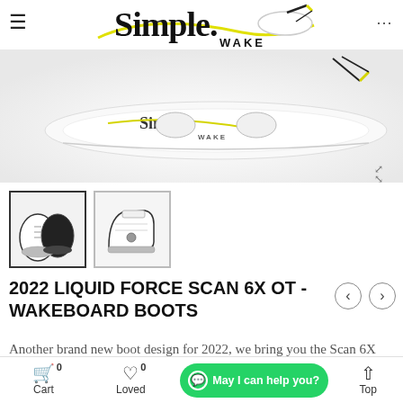[Figure (logo): Simple Wake logo with wakeboard and yellow rope graphic]
[Figure (photo): Main product image showing white wakeboard with Simple Wake branding and yellow rope, side view]
[Figure (photo): Thumbnail 1: Two Liquid Force Scan 6X OT wakeboard boots seen from above, white and black]
[Figure (photo): Thumbnail 2: Single Liquid Force Scan 6X OT wakeboard boot side view, white and black]
2022 LIQUID FORCE SCAN 6X OT - WAKEBOARD BOOTS
Another brand new boot design for 2022, we bring you the Scan 6X OT. The top Velcro "Power Strap" allows you to dial
Cart 0  Loved 0  Top  May I can help you?